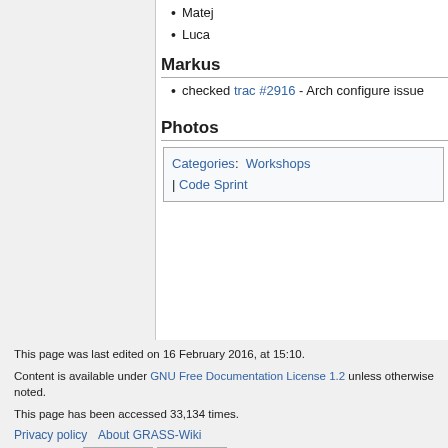Matej
Luca
Markus
checked trac #2916 - Arch configure issue
Photos
Categories: Workshops | Code Sprint
This page was last edited on 16 February 2016, at 15:10.
Content is available under GNU Free Documentation License 1.2 unless otherwise noted.
This page has been accessed 33,134 times.
Privacy policy   About GRASS-Wiki
Disclaimers